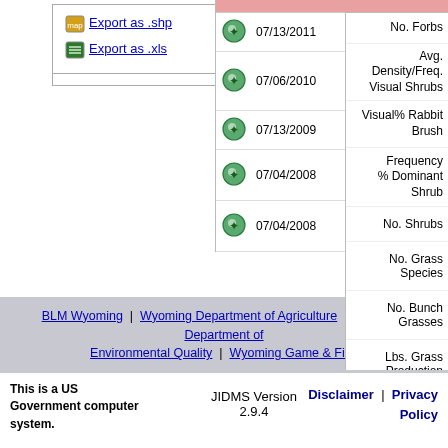Export as .shp
Export as .xls
|  | Date | Field |
| --- | --- | --- |
| icon | 07/13/2011 | No. Forbs |
| icon | 07/06/2010 | Avg. Density/Freq. Visual Shrubs |
| icon | 07/13/2009 | Visual % Rabbit Brush |
| icon | 07/04/2008 | Frequency % Dominant Shrub |
| icon | 07/04/2008 | No. Shrubs |
No. Forbs
Avg. Density/Freq. Visual  Shrubs
Visual % Rabbit Brush
Frequency % Dominant Shrub
No. Shrubs
No. Grass Species
No. Bunch Grasses
Lbs. Grass Production
BLM Wyoming | Wyoming Department of Agriculture | Wyoming Department of Environmental Quality | Wyoming Game & Fish
This is a US Government computer system.
JIDMS Version 2.9.4
Disclaimer | Privacy Policy